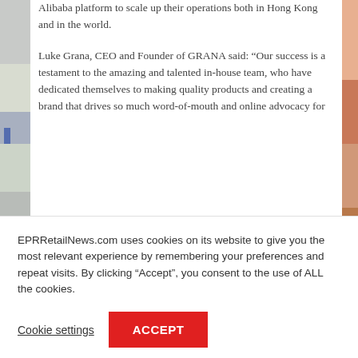Alibaba platform to scale up their operations both in Hong Kong and in the world.
Luke Grana, CEO and Founder of GRANA said: “Our success is a testament to the amazing and talented in-house team, who have dedicated themselves to making quality products and creating a brand that drives so much word-of-mouth and online advocacy for
EPRRetailNews.com uses cookies on its website to give you the most relevant experience by remembering your preferences and repeat visits. By clicking “Accept”, you consent to the use of ALL the cookies.
Cookie settings
ACCEPT